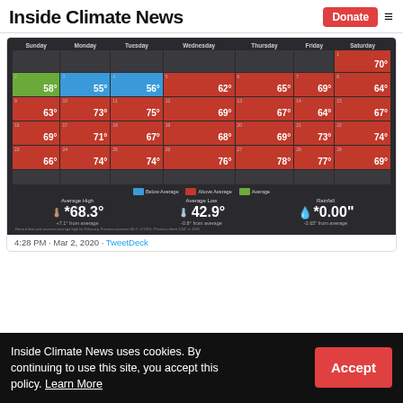Inside Climate News | Donate
[Figure (screenshot): Weather calendar widget showing February temperatures. Calendar shows daily high temperatures color-coded: blue (below average), red (above average), green (average). Average High: *68.3° (+7.1° from average), Average Low: 42.9° (-0.8° from average), Rainfall: *0.00" (-3.65" from average).]
4:28 PM · Mar 2, 2020 · TweetDeck
Inside Climate News uses cookies. By continuing to use this site, you accept this policy. Learn More